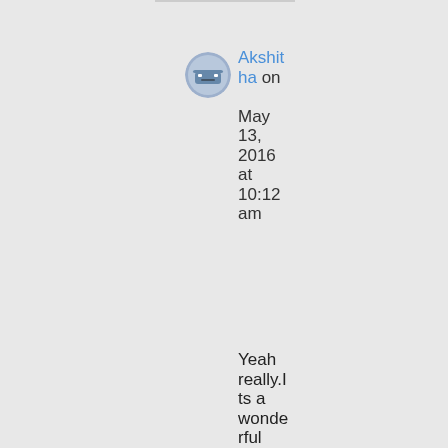[Figure (illustration): Small circular avatar icon showing a cartoon face with a neutral/sleepy expression on a blue-gray background]
Akshitha on May 13, 2016 at 10:12 am
Yeah really.Its a wonderful experience being